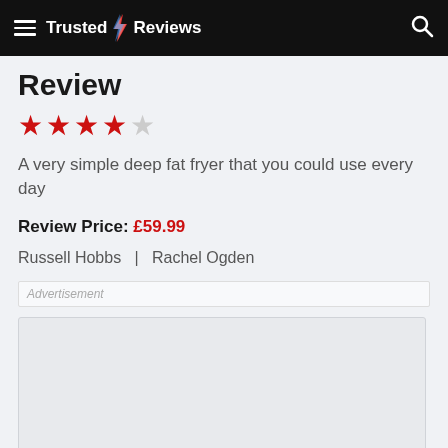Trusted Reviews
Review
[Figure (other): 4 out of 5 stars rating — 4 red filled stars and 1 grey empty star]
A very simple deep fat fryer that you could use every day
Review Price: £59.99
Russell Hobbs  |  Rachel Ogden
Advertisement
[Figure (other): Advertisement placeholder box — grey rectangle]